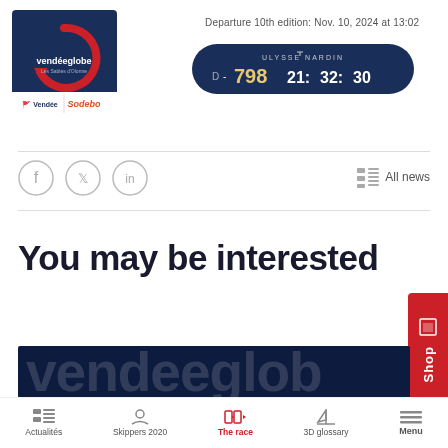[Figure (logo): Vendée Globe logo with red circular arrow and sailing globe icon, with Vendée and Solobe sponsor logos below]
Departure 10th edition: Nov. 10, 2024 at 13:02
[Figure (infographic): Ulysse Nardin countdown timer showing D - 798 21:32:30 on dark navy rounded rectangle]
[Figure (infographic): Social media icons: Facebook, Twitter, LinkedIn in circles]
All news
You may be interested
[Figure (photo): Vendée Globe logo text watermark on dark navy background image strip]
Actualités  Skippers 2020  The race  3D glossary  Menu